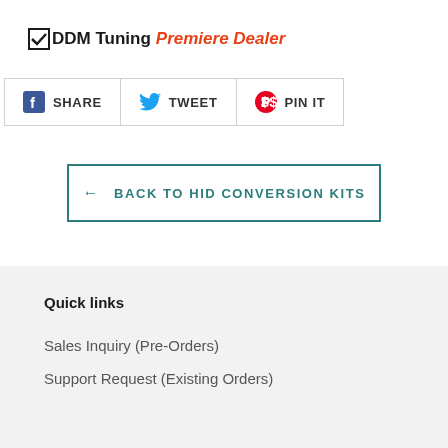DDM Tuning Premiere Dealer
SHARE  TWEET  PIN IT
← BACK TO HID CONVERSION KITS
Quick links
Sales Inquiry (Pre-Orders)
Support Request (Existing Orders)